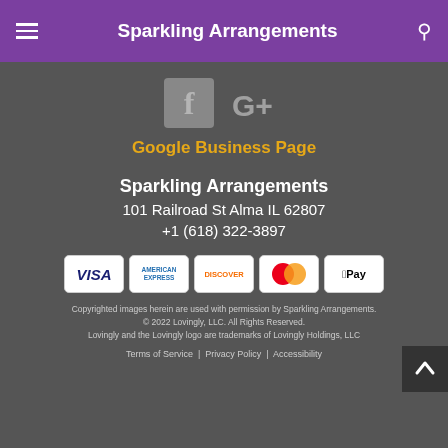Sparkling Arrangements
[Figure (logo): Facebook icon (f) and Google+ icon in gray on dark background]
Google Business Page
Sparkling Arrangements
101 Railroad St Alma IL 62807
+1 (618) 322-3897
[Figure (other): Payment method icons: VISA, American Express, Discover, Mastercard, Apple Pay]
Copyrighted images herein are used with permission by Sparkling Arrangements.
© 2022 Lovingly, LLC. All Rights Reserved.
Lovingly and the Lovingly logo are trademarks of Lovingly Holdings, LLC
Terms of Service | Privacy Policy | Accessibility